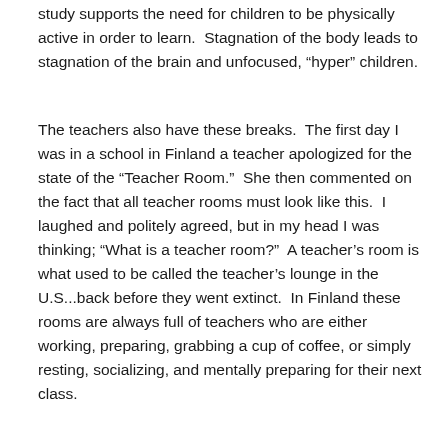study supports the need for children to be physically active in order to learn. Stagnation of the body leads to stagnation of the brain and unfocused, “hyper” children.
The teachers also have these breaks. The first day I was in a school in Finland a teacher apologized for the state of the “Teacher Room.” She then commented on the fact that all teacher rooms must look like this. I laughed and politely agreed, but in my head I was thinking; “What is a teacher room?” A teacher’s room is what used to be called the teacher’s lounge in the U.S...back before they went extinct. In Finland these rooms are always full of teachers who are either working, preparing, grabbing a cup of coffee, or simply resting, socializing, and mentally preparing for their next class.